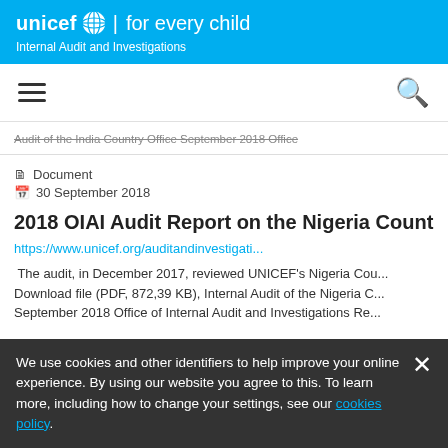unicef for every child — Internal Audit and Investigations
[Figure (screenshot): Navigation bar with hamburger menu icon and search icon]
Audit of the India Country Office September 2018 Office
Document
30 September 2018
2018 OIAI Audit Report on the Nigeria Country Of
https://www.unicef.org/auditandinvestigati...
The audit, in December 2017, reviewed UNICEF's Nigeria Cou... Download file (PDF, 872,39 KB), Internal Audit of the Nigeria C... September 2018 Office of Internal Audit and Investigations Re...
We use cookies and other identifiers to help improve your online experience. By using our website you agree to this. To learn more, including how to change your settings, see our cookies policy.